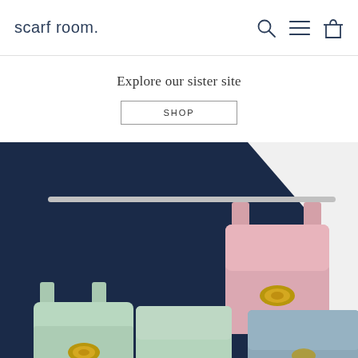scarf room.
Explore our sister site
SHOP
[Figure (photo): Three pastel leather handbags (pink, mint green, and pale blue) hanging on a rack and displayed against a dark navy and white background. The bags have gold turnlock clasps.]